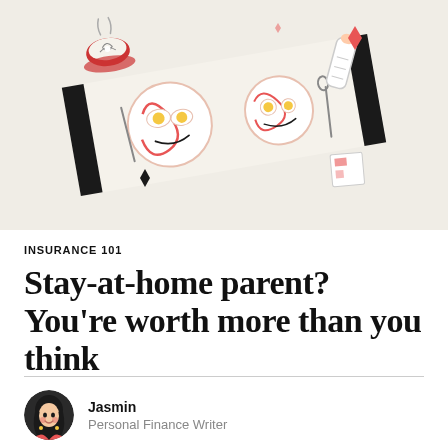[Figure (illustration): A whimsical overhead illustration on a beige background of a tilted meal tray or placemat with two plates of fried eggs styled as smiley faces, alongside a red coffee cup, a baby bottle, utensils, and small decorative diamond/star shapes in black and pink/red accents.]
INSURANCE 101
Stay-at-home parent? You’re worth more than you think
Jasmin
Personal Finance Writer